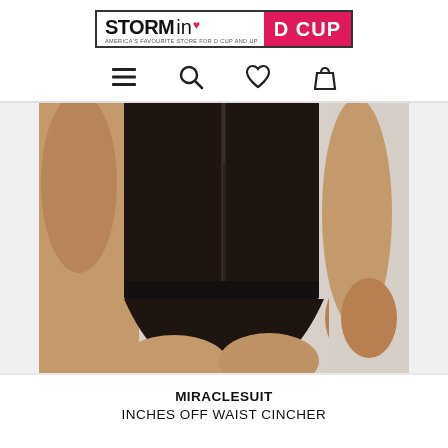[Figure (logo): Storm in a D Cup logo — black bordered rectangle with STORM in bold black, 'ina' in regular, pink heart symbol, D CUP in white on pink/magenta background. Tagline: AMERICA'S FAVOURITE STORE FOR D CUP AND UP]
[Figure (other): Navigation bar with hamburger menu, search, heart/wishlist, and bag icons]
[Figure (photo): Close-up photo of a woman wearing a black Miraclesuit Inches Off Waist Cincher shapewear bodysuit, showing the torso and upper thigh area against a light grey background. A front zipper detail is visible.]
MIRACLESUIT
INCHES OFF WAIST CINCHER